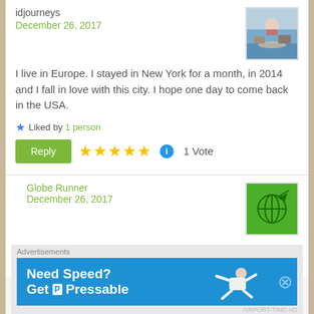idjourneys
December 26, 2017
[Figure (photo): Small thumbnail photo of a coastal/beach scene with rocks and water]
I live in Europe. I stayed in New York for a month, in 2014 and I fall in love with this city. I hope one day to come back in the USA.
★ Liked by 1 person
Reply ★★★★★ ⓘ 1 Vote
Globe Runner
December 26, 2017
[Figure (logo): Green square logo with globe and plane icon for Globe Runner]
Awww, come back to US again...I wish I could go back to Belgium again. Thanks
Advertisements
[Figure (screenshot): Advertisement banner: Need Speed? Get Pressable - blue background with person flying]